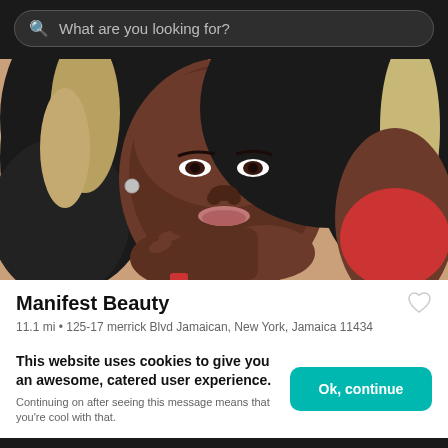What are you looking for?
[Figure (photo): Professional photo of a Black woman with long dark and blonde curly hair, wearing a red outfit, posing with hands near her neck against a warm beige background.]
Manifest Beauty
11.1 mi • 125-17 merrick Blvd Jamaican, New York, Jamaica 11434
This website uses cookies to give you an awesome, catered user experience. Continuing on after seeing this message means that you're cool with that.
Ok, continue
Your Booksy   Explore   Appointments   Profile